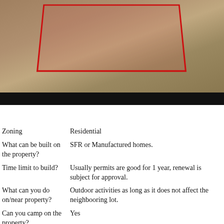[Figure (photo): Aerial or ground-level photo of a land lot with a red rectangular outline marking the property boundary on a dusty/sandy surface.]
| Question | Answer |
| --- | --- |
| Zoning | Residential |
| What can be built on the property? | SFR or Manufactured homes. |
| Time limit to build? | Usually permits are good for 1 year, renewal is subject for approval. |
| What can you do on/near property? | Outdoor activities as long as it does not affect the neighbooring lot. |
| Can you camp on the property? | Yes |